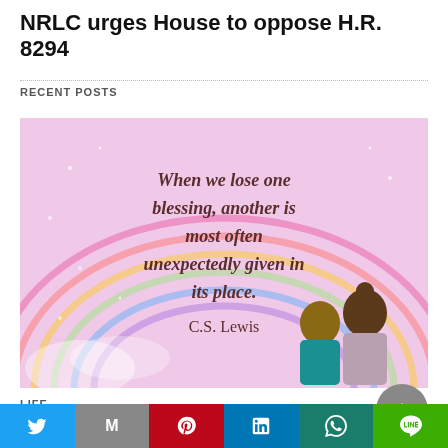NRLC urges House to oppose H.R. 8294
RECENT POSTS
[Figure (photo): Inspirational quote image with rainbow background and two children (seen from behind). Quote reads: 'When we lose one blessing, another is most often unexpectedly given in its place. C.S. Lewis']
LIFE
Love bears all things
Share buttons: Twitter, Gmail/Mail, Pinterest, LinkedIn, WhatsApp, LINE